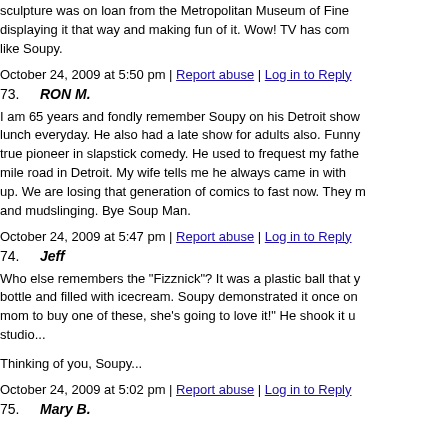sculpture was on loan from the Metropolitan Museum of Fine displaying it that way and making fun of it. Wow! TV has com like Soupy.
October 24, 2009 at 5:50 pm | Report abuse | Log in to Reply
73. RON M.
I am 65 years and fondly remember Soupy on his Detroit show lunch everyday. He also had a late show for adults also. Funny true pioneer in slapstick comedy. He used to frequest my fathe mile road in Detroit. My wife tells me he always came in with up. We are losing that generation of comics to fast now. They m and mudslinging. Bye Soup Man.
October 24, 2009 at 5:47 pm | Report abuse | Log in to Reply
74. Jeff
Who else remembers the "Fizznick"? It was a plastic ball that y bottle and filled with icecream. Soupy demonstrated it once on mom to buy one of these, she's going to love it!" He shook it u studio...
Thinking of you, Soupy...
October 24, 2009 at 5:02 pm | Report abuse | Log in to Reply
75. Mary B.